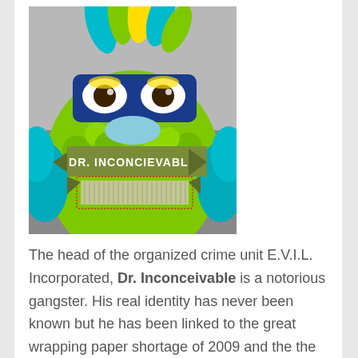[Figure (photo): A green furry monster puppet wearing a blue superhero mask with yellow eye markings, a blue snout, and colorful fur on top. Overlaid on the photo is a decorative banner graphic reading 'DR. INCONCIEVABLE' in white text on a green ribbon banner, with an orange and white striped decorative box below.]
The head of the organized crime unit E.V.I.L. Incorporated, Dr. Inconceivable is a notorious gangster. His real identity has never been known but he has been linked to the great wrapping paper shortage of 2009 and the the exploding Christmas present prank that left 1000's of people eyebrow-less. He is the